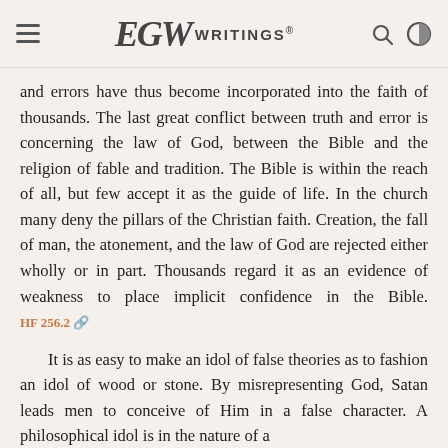EGW WRITINGS®
and errors have thus become incorporated into the faith of thousands. The last great conflict between truth and error is concerning the law of God, between the Bible and the religion of fable and tradition. The Bible is within the reach of all, but few accept it as the guide of life. In the church many deny the pillars of the Christian faith. Creation, the fall of man, the atonement, and the law of God are rejected either wholly or in part. Thousands regard it as an evidence of weakness to place implicit confidence in the Bible. HF 256.2
It is as easy to make an idol of false theories as to fashion an idol of wood or stone. By misrepresenting God, Satan leads men to conceive of Him in a false character. A philosophical idol is in the nature of a...